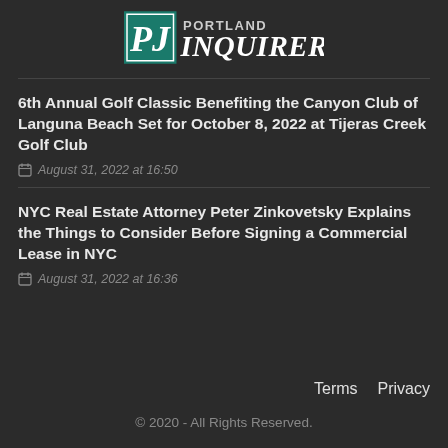[Figure (logo): Portland Inquirer logo with teal square and stylized PJ letters and text]
6th Annual Golf Classic Benefiting the Canyon Club of Languna Beach Set for October 8, 2022 at Tijeras Creek Golf Club
August 31, 2022 at 16:50
NYC Real Estate Attorney Peter Zinkovetsky Explains the Things to Consider Before Signing a Commercial Lease in NYC
August 31, 2022 at 16:36
Terms   Privacy
© 2020 - All Rights Reserved.